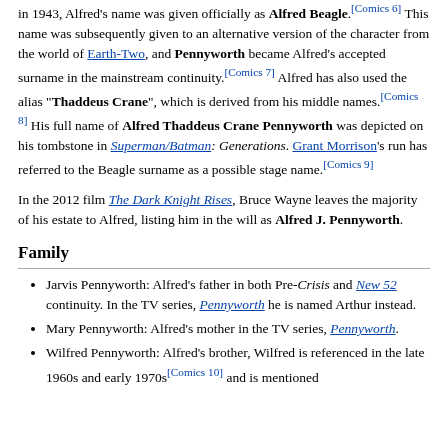in 1943, Alfred's name was given officially as Alfred Beagle.[Comics 6] This name was subsequently given to an alternative version of the character from the world of Earth-Two, and Pennyworth became Alfred's accepted surname in the mainstream continuity.[Comics 7] Alfred has also used the alias "Thaddeus Crane", which is derived from his middle names.[Comics 8] His full name of Alfred Thaddeus Crane Pennyworth was depicted on his tombstone in Superman/Batman: Generations. Grant Morrison's run has referred to the Beagle surname as a possible stage name.[Comics 9]
In the 2012 film The Dark Knight Rises, Bruce Wayne leaves the majority of his estate to Alfred, listing him in the will as Alfred J. Pennyworth.
Family
Jarvis Pennyworth: Alfred's father in both Pre-Crisis and New 52 continuity. In the TV series, Pennyworth he is named Arthur instead.
Mary Pennyworth: Alfred's mother in the TV series, Pennyworth.
Wilfred Pennyworth: Alfred's brother, Wilfred is referenced in the late 1960s and early 1970s[Comics 10] and is mentioned